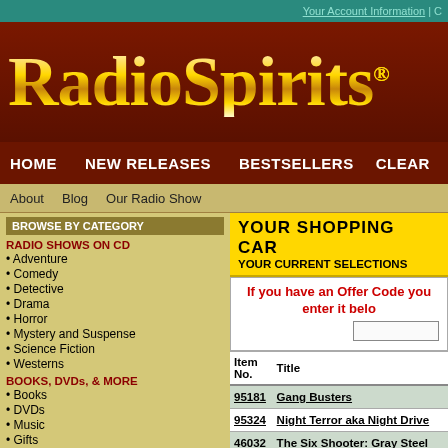Your Account Information | C
[Figure (logo): RadioSpirits logo with golden gradient text on dark red background]
HOME  NEW RELEASES  BESTSELLERS  CLEAR
About  Blog  Our Radio Show
BROWSE BY CATEGORY
RADIO SHOWS ON CD
• Adventure
• Comedy
• Detective
• Drama
• Horror
• Mystery and Suspense
• Science Fiction
• Westerns
BOOKS, DVDs, & MORE
• Books
• DVDs
• Music
• Gifts
DOWNLOADS & STREAMS
• Download Collections
YOUR SHOPPING CAR
YOUR CURRENT SELECTIONS
If you have an Offer Code you enter it belo
| Item No. | Title |  |
| --- | --- | --- |
| 95181 | Gang Busters |  |
| 95324 | Night Terror aka Night Drive |  |
| 46032 | The Six Shooter: Gray Steel |  |
| 94979 | THE VERY BEST OF THE |  |